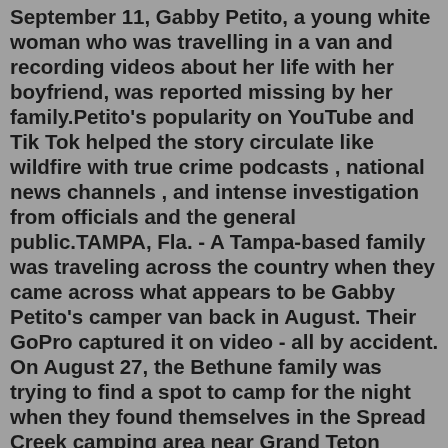September 11, Gabby Petito, a young white woman who was travelling in a van and recording videos about her life with her boyfriend, was reported missing by her family.Petito's popularity on YouTube and Tik Tok helped the story circulate like wildfire with true crime podcasts , national news channels , and intense investigation from officials and the general public.TAMPA, Fla. - A Tampa-based family was traveling across the country when they came across what appears to be Gabby Petito's camper van back in August. Their GoPro captured it on video - all by accident. On August 27, the Bethune family was trying to find a spot to camp for the night when they found themselves in the Spread Creek camping area near Grand Teton National Park, where remains ...LIVE BLOG: Updates from the Gabby Petito case. More than 50 law enforcement officers on Sunday started a second day of searching for Laundrie at the more than 24,000-acre (9,712-hectare) Carlton ...1.2m Followers, 231 Following, 98 Posts - See Instagram photos and videos from Gabby (@gabspetito)